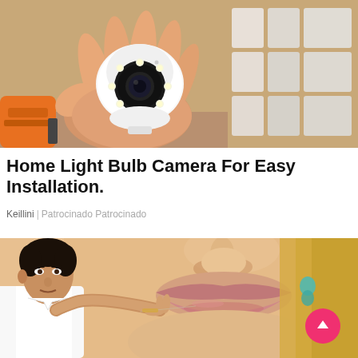[Figure (photo): A hand holding a small white dome security/bulb camera with LED ring, with orange power drill visible at wrist, boxes in background]
Home Light Bulb Camera For Easy Installation.
Keillini | Patrocinado Patrocinado
[Figure (photo): Close-up of a woman's face (nose and lips) with a man in white shirt appearing to apply a thread or needle treatment near her lips; pink scroll-to-top button overlaid in bottom-right corner]